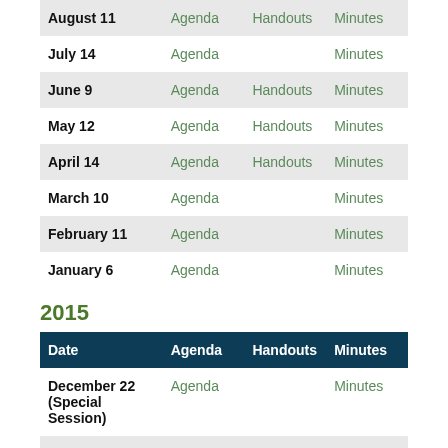| August 11 | Agenda | Handouts | Minutes |
| July 14 | Agenda |  | Minutes |
| June 9 | Agenda | Handouts | Minutes |
| May 12 | Agenda | Handouts | Minutes |
| April 14 | Agenda | Handouts | Minutes |
| March 10 | Agenda |  | Minutes |
| February 11 | Agenda |  | Minutes |
| January 6 | Agenda |  | Minutes |
2015
| Date | Agenda | Handouts | Minutes |
| --- | --- | --- | --- |
| December 22 (Special Session) | Agenda |  | Minutes |
| December 8 | Agenda |  | Minutes |